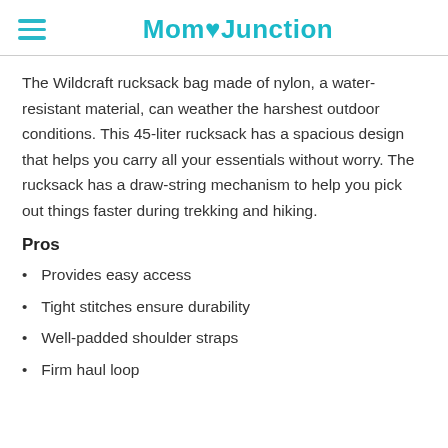Mom Junction
The Wildcraft rucksack bag made of nylon, a water-resistant material, can weather the harshest outdoor conditions. This 45-liter rucksack has a spacious design that helps you carry all your essentials without worry. The rucksack has a draw-string mechanism to help you pick out things faster during trekking and hiking.
Pros
Provides easy access
Tight stitches ensure durability
Well-padded shoulder straps
Firm haul loop